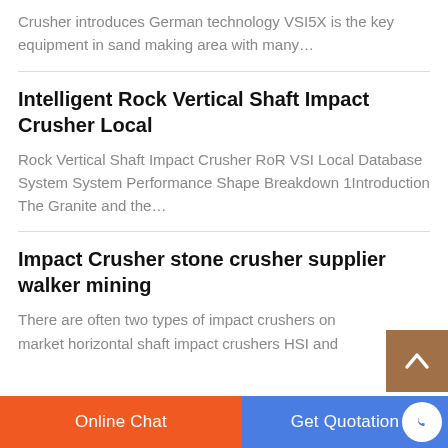Crusher introduces German technology VSI5X is the key equipment in sand making area with many…
Intelligent Rock Vertical Shaft Impact Crusher Local
Rock Vertical Shaft Impact Crusher RoR VSI Local Database System System Performance Shape Breakdown 1Introduction The Granite and the…
Impact Crusher stone crusher supplier walker mining
There are often two types of impact crushers on market horizontal shaft impact crushers HSI and